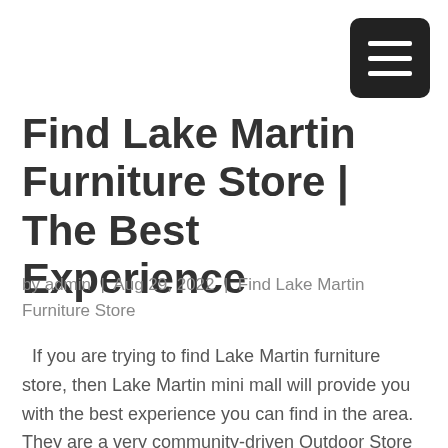[Figure (other): Hamburger menu button — dark rounded square with three white horizontal lines]
Find Lake Martin Furniture Store | The Best Experience
by admin | Aug 29, 2022 | Find Lake Martin Furniture Store
If you are trying to find Lake Martin furniture store, then Lake Martin mini mall will provide you with the best experience you can find in the area. They are a very community-driven Outdoor Store that loves to serve its community and the tourists that commonly...